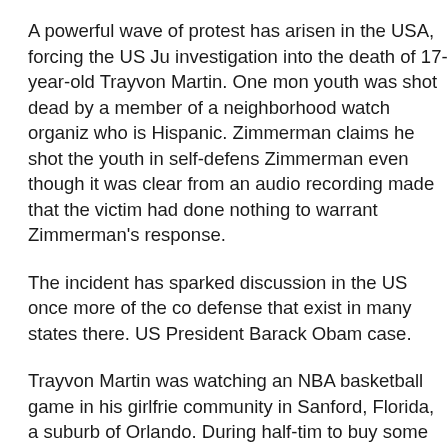A powerful wave of protest has arisen in the USA, forcing the US Ju investigation into the death of 17-year-old Trayvon Martin. One mon youth was shot dead by a member of a neighborhood watch organiz who is Hispanic. Zimmerman claims he shot the youth in self-defens Zimmerman even though it was clear from an audio recording made that the victim had done nothing to warrant Zimmerman's response.
The incident has sparked discussion in the US once more of the co defense that exist in many states there. US President Barack Obam case.
Trayvon Martin was watching an NBA basketball game in his girlfrie community in Sanford, Florida, a suburb of Orlando. During half-tim to buy some candy and drinks. Such communities usually have neig organizations, and George Zimmerman, a member of such a group the street. The armed and suspicious volunteer immediately saw a p American youth.
Zimmerman called emergency services to report that the African-An suspicious to him. "This guy looks like he's up to something fishy. H that," Zimmerman told police. The officer on the line did his best to r him he didn't have to follow the youth. Zimmerman didn't listen and